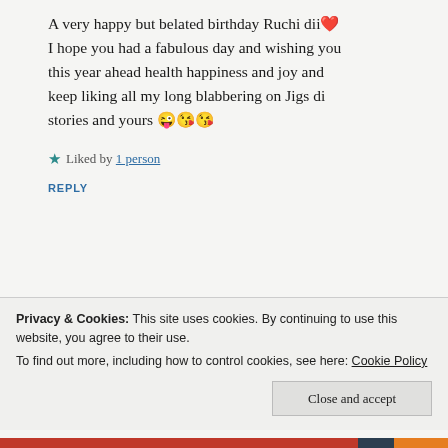A very happy but belated birthday Ruchi dii ❤️ I hope you had a fabulous day and wishing you this year ahead health happiness and joy and keep liking all my long blabbering on Jigs di stories and yours 😜😘😘
★ Liked by 1 person
REPLY
~Ruchi~
Privacy & Cookies: This site uses cookies. By continuing to use this website, you agree to their use.
To find out more, including how to control cookies, see here: Cookie Policy
Close and accept